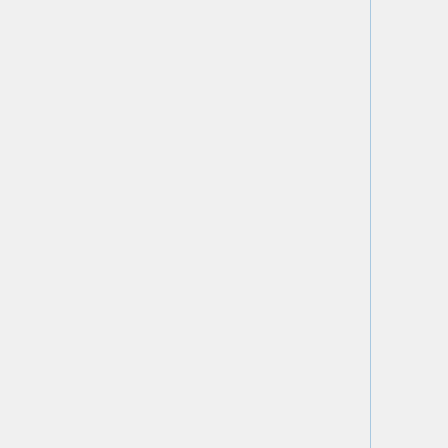| Date | Category | Description |
| --- | --- | --- |
|  |  | inspection... lady, roden... |
| 2015-11-23 | fundraising | researching possible ba loans. follo brewster, r paying a grantwriter, |
| 2015-11-22 | commons | reviewing e |
| 2015-11-19 | delegates | • present about b a boar director LLC
• Chiapa Suppor Commi now a n collecti |